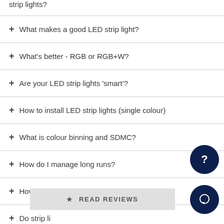strip lights?
+ What makes a good LED strip light?
+ What's better - RGB or RGB+W?
+ Are your LED strip lights 'smart'?
+ How to install LED strip lights (single colour)
+ What is colour binning and SDMC?
+ How do I manage long runs?
+ How do I select a power supply?
+ Do strip li...
★ READ REVIEWS